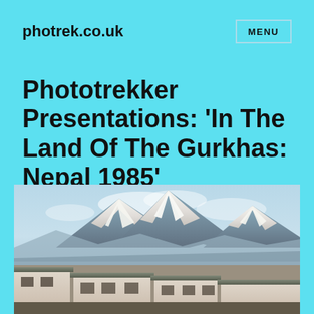photrek.co.uk
Phototrekker Presentations: ‘In The Land Of The Gurkhas: Nepal 1985’
[Figure (photo): Photograph showing snow-capped Himalayan mountain peaks (Annapurna range) with white peaks against a pale blue sky, and traditional Nepali building rooftops visible in the foreground lower portion of the image.]